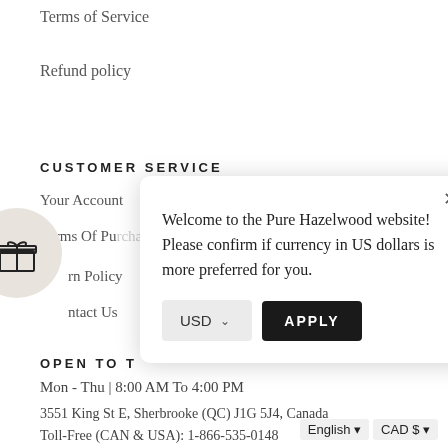Terms of Service
Refund policy
CUSTOMER SERVICE
Your Account
Terms Of Purchase
Return Policy
Contact Us
[Figure (illustration): Gift box icon in a beige circle]
[Figure (screenshot): Modal dialog: Welcome to the Pure Hazelwood website! Please confirm if currency in US dollars is more preferred for you. With USD dropdown and APPLY button.]
OPEN TO T
Mon - Thu | 8:00 AM To 4:00 PM
3551 King St E, Sherbrooke (QC) J1G 5J4, Canada
Toll-Free (CAN & USA): 1-866-535-0148
English ▾  CAD $ ▾